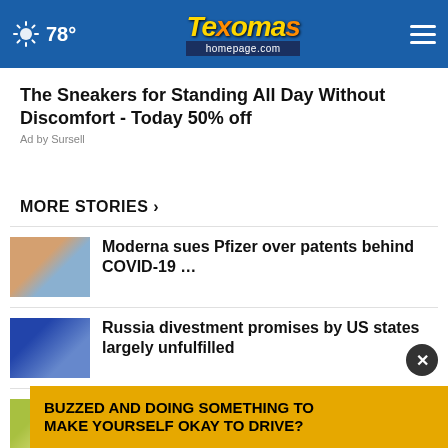78° Texoma's homepage.com
The Sneakers for Standing All Day Without Discomfort - Today 50% off
Ad by Sursell
MORE STORIES ›
Moderna sues Pfizer over patents behind COVID-19 …
Russia divestment promises by US states largely unfulfilled
Drought forces earliest harvest ever in French wine …
threatening world …
BUZZED AND DOING SOMETHING TO MAKE YOURSELF OKAY TO DRIVE?